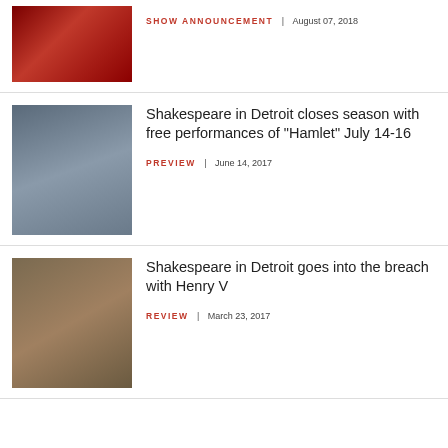[Figure (photo): Woman in red dramatic theatrical photo]
SHOW ANNOUNCEMENT | August 07, 2018
[Figure (photo): Child standing at gravestone labeled 'Hamlet' in misty cemetery]
Shakespeare in Detroit closes season with free performances of "Hamlet" July 14-16
PREVIEW | June 14, 2017
[Figure (photo): Person in medieval costume with crown standing by lattice window]
Shakespeare in Detroit goes into the breach with Henry V
REVIEW | March 23, 2017